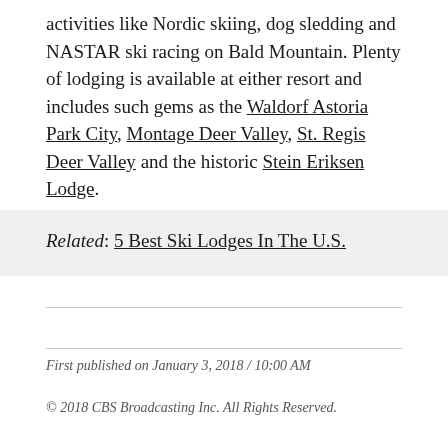activities like Nordic skiing, dog sledding and NASTAR ski racing on Bald Mountain. Plenty of lodging is available at either resort and includes such gems as the Waldorf Astoria Park City, Montage Deer Valley, St. Regis Deer Valley and the historic Stein Eriksen Lodge.
Related: 5 Best Ski Lodges In The U.S.
First published on January 3, 2018 / 10:00 AM
© 2018 CBS Broadcasting Inc. All Rights Reserved.